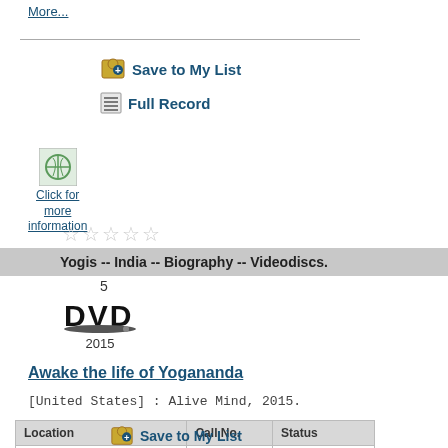More...
Save to My List
Full Record
[Figure (other): Small thumbnail image with globe icon and text 'Click for more information']
☆☆☆☆☆
Yogis -- India -- Biography -- Videodiscs.
5
[Figure (logo): DVD logo with year 2015 below it]
Awake the life of Yogananda
[United States] : Alive Mind, 2015.
| Location | Call No. | Status |
| --- | --- | --- |
| 95th Street Adult DVD Nonfiction | 294.5092 YOG | AVAILABLE |
Save to My List